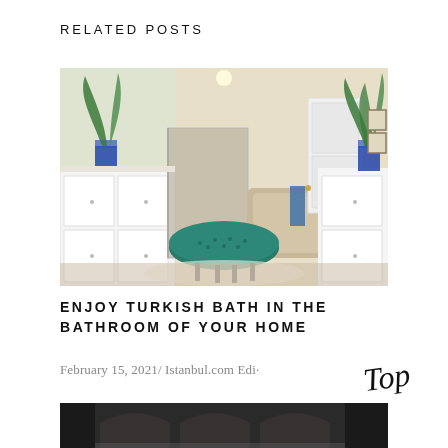RELATED POSTS
[Figure (photo): Interior photo of a luxury bathroom with white cabinetry, glass shower, jacuzzi tub, teal tufted ottoman on a white rug, and tropical plants in blue and white vases]
ENJOY TURKISH BATH IN THE BATHROOM OF YOUR HOME
February 15, 2021/ Istanbul.com Edi·
[Figure (photo): Bottom portion of a second photo showing a dark interior, partially visible]